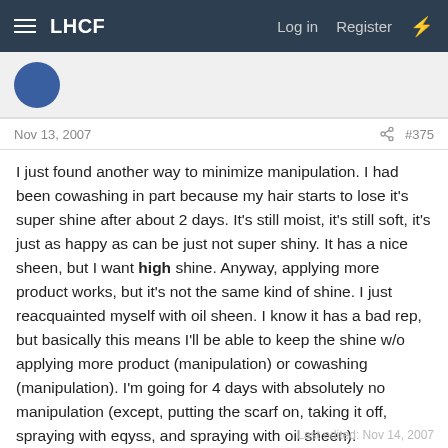LHCF  Log in  Register
Nov 13, 2007  #375
I just found another way to minimize manipulation. I had been cowashing in part because my hair starts to lose it's super shine after about 2 days. It's still moist, it's still soft, it's just as happy as can be just not super shiny. It has a nice sheen, but I want high shine. Anyway, applying more product works, but it's not the same kind of shine. I just reacquainted myself with oil sheen. I know it has a bad rep, but basically this means I'll be able to keep the shine w/o applying more product (manipulation) or cowashing (manipulation). I'm going for 4 days with absolutely no manipulation (except, putting the scarf on, taking it off, spraying with eqyss, and spraying with oil sheen).

Wish me luck!
Last edited: Nov 14, 2007